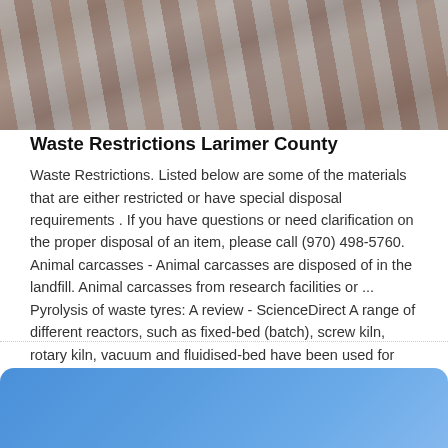[Figure (photo): Photograph of industrial shredder or screw machinery, showing metallic blades or rotating elements in brownish-grey tones.]
Waste Restrictions Larimer County
Waste Restrictions. Listed below are some of the materials that are either restricted or have special disposal requirements . If you have questions or need clarification on the proper disposal of an item, please call (970) 498-5760. Animal carcasses - Animal carcasses are disposed of in the landfill. Animal carcasses from research facilities or ... Pyrolysis of waste tyres: A review - ScienceDirect A range of different reactors, such as fixed-bed (batch), screw kiln, rotary kiln, vacuum and fluidised-bed have been used for pyrolysis of waste tyres. Table 2 shows the range of pyrolysis reactors used to research the pyrolysis of waste tyres and the yields of oil, char and gas from the process.
[Figure (other): Blue rounded rectangle decorative box at the bottom of the page.]